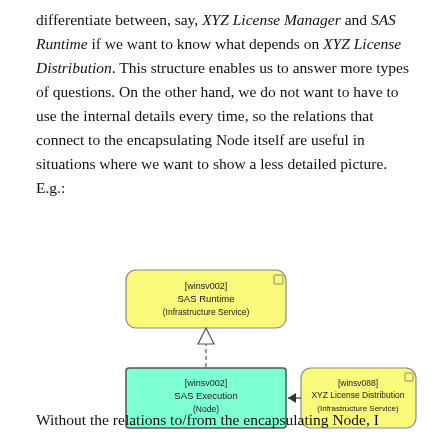differentiate between, say, XYZ License Manager and SAS Runtime if we want to know what depends on XYZ License Distribution. This structure enables us to answer more types of questions. On the other hand, we do not want to have to use the internal details every time, so the relations that connect to the encapsulating Node itself are useful in situations where we want to show a less detailed picture. E.g.:
[Figure (engineering-diagram): UML-style architecture diagram showing three nodes: [winsv002] SAS Runtime (Infrastructure Service) in yellow at top, connected by a dashed inheritance arrow down to [winsv002] SAS Execution (Node) in cyan/teal, which receives an arrow from [winsv088] XYZ License Distribution (Infrastructure Service) in yellow on the right.]
Without the relations to/from the encapsulating Node, I